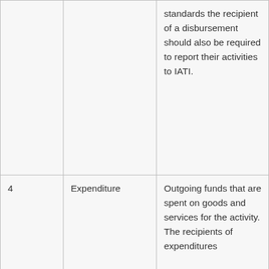|  |  |  |
| --- | --- | --- |
|  |  | standards the recipient of a disbursement should also be required to report their activities to IATI. |
| 4 | Expenditure | Outgoing funds that are spent on goods and services for the activity. The recipients of expenditures |